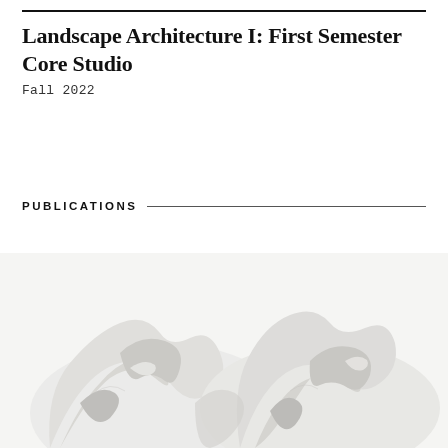Landscape Architecture I: First Semester Core Studio
Fall 2022
PUBLICATIONS
[Figure (photo): Sculptural white paper or fabric forms arranged as crumpled, organic shapes against a white background, photographed from above.]